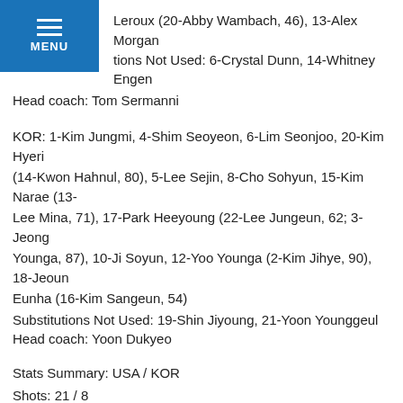Leroux (20-Abby Wambach, 46), 13-Alex Morgan
tions Not Used: 6-Crystal Dunn, 14-Whitney Engen
Head coach: Tom Sermanni
KOR: 1-Kim Jungmi, 4-Shim Seoyeon, 6-Lim Seonjoo, 20-Kim Hyeri (14-Kwon Hahnul, 80), 5-Lee Sejin, 8-Cho Sohyun, 15-Kim Narae (13-Lee Mina, 71), 17-Park Heeyoung (22-Lee Jungeun, 62; 3-Jeong Younga, 87), 10-Ji Soyun, 12-Yoo Younga (2-Kim Jihye, 90), 18-Jeoun Eunha (16-Kim Sangeun, 54)
Substitutions Not Used: 19-Shin Jiyoung, 21-Yoon Younggeul
Head coach: Yoon Dukyeo
Stats Summary: USA / KOR
Shots: 21 / 8
Shots on Goal: 13 / 4
Saves: 3 / 8
Corner Kicks: 7 / 2
Fouls: 3 / 12
Offside: 4 / 1